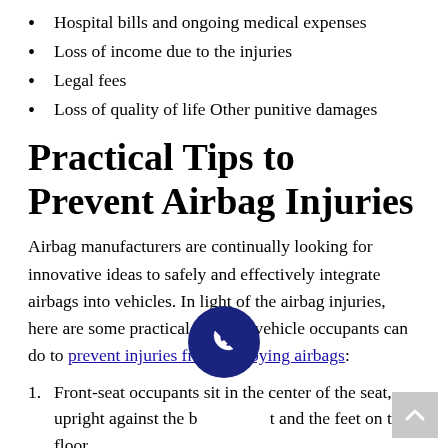Hospital bills and ongoing medical expenses
Loss of income due to the injuries
Legal fees
Loss of quality of life Other punitive damages
Practical Tips to Prevent Airbag Injuries
Airbag manufacturers are continually looking for innovative ideas to safely and effectively integrate airbags into vehicles. In light of the airbag injuries, here are some practical tips that vehicle occupants can do to prevent injuries from deploying airbags:
1. Front-seat occupants sit in the center of the seat, upright against the back and the feet on the floor.
2. Never rest your arms and legs against an airbag